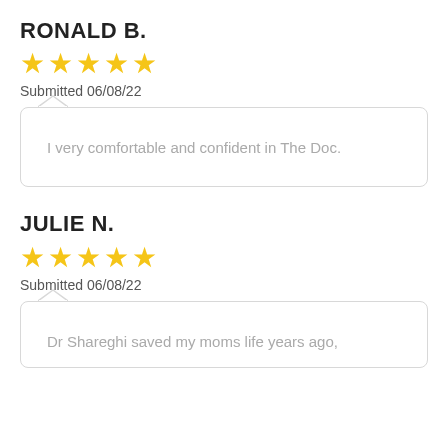RONALD B.
★★★★★ (5 stars)
Submitted 06/08/22
I very comfortable and confident in The Doc.
JULIE N.
★★★★★ (5 stars)
Submitted 06/08/22
Dr Shareghi saved my moms life years ago,